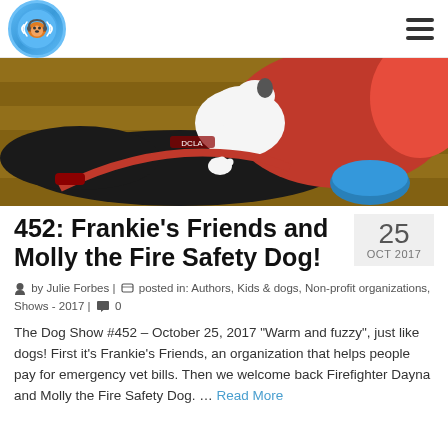Dog Show Podcast logo and navigation
[Figure (photo): Photo of a dog on a leash with a person wearing red, lying on a wooden floor with a blue bag nearby]
452: Frankie's Friends and Molly the Fire Safety Dog!
25 OCT 2017
by Julie Forbes | posted in: Authors, Kids & dogs, Non-profit organizations, Shows - 2017 | 0
The Dog Show #452 – October 25, 2017 "Warm and fuzzy", just like dogs! First it's Frankie's Friends, an organization that helps people pay for emergency vet bills. Then we welcome back Firefighter Dayna and Molly the Fire Safety Dog. … Read More